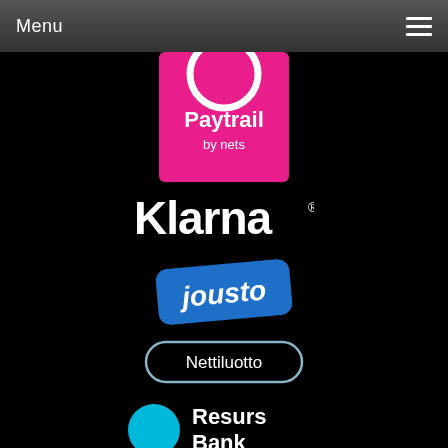Menu
[Figure (logo): Paytrail by nets logo — pink/magenta square with white circle arc at top and white text 'Paytrail by nets']
[Figure (logo): Klarna logo — white bold text 'Klarna' with registered trademark symbol on black background]
[Figure (logo): jousto logo — blue rounded rectangle tilted slightly with white lowercase text 'jousto']
[Figure (logo): Nettiluotto logo — pill-shaped button with light blue/grey gradient border and white text 'Nettiluotto']
[Figure (logo): Resurs Bank logo — cyan circle on left with white bold text 'Resurs Bank' on black background]
Yhteystiedot